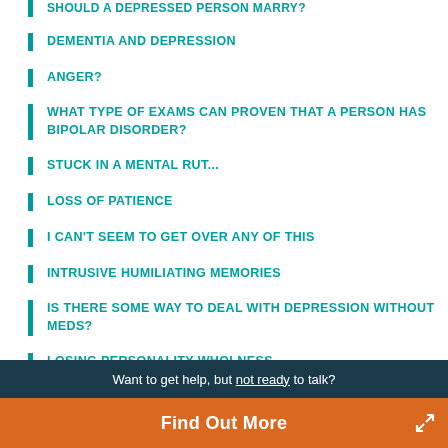SHOULD A DEPRESSED PERSON MARRY?
DEMENTIA AND DEPRESSION
ANGER?
WHAT TYPE OF EXAMS CAN PROVEN THAT A PERSON HAS BIPOLAR DISORDER?
STUCK IN A MENTAL RUT...
LOSS OF PATIENCE
I CAN'T SEEM TO GET OVER ANY OF THIS
INTRUSIVE HUMILIATING MEMORIES
IS THERE SOME WAY TO DEAL WITH DEPRESSION WITHOUT MEDS?
LOSING PERSONALITY WHOLNESS
Want to get help, but not ready to talk?
Find Out More